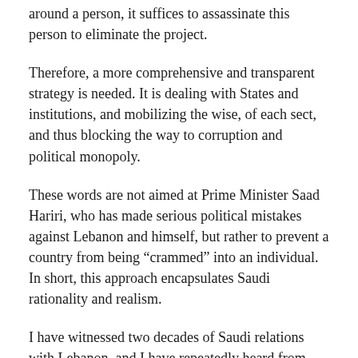around a person, it suffices to assassinate this person to eliminate the project.
Therefore, a more comprehensive and transparent strategy is needed. It is dealing with States and institutions, and mobilizing the wise, of each sect, and thus blocking the way to corruption and political monopoly.
These words are not aimed at Prime Minister Saad Hariri, who has made serious political mistakes against Lebanon and himself, but rather to prevent a country from being “crammed” into an individual. In short, this approach encapsulates Saudi rationality and realism.
I have witnessed two decades of Saudi relations with Lebanon, and I have repeatedly heard from Saudi leaders and senior officials – may God have mercy on the dead among them and may God save the living – that Saudi Arabia is to deal at the same distance with all...